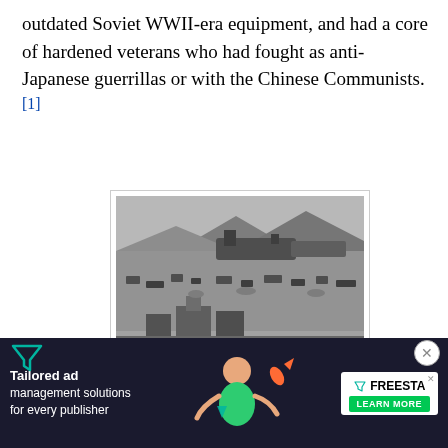outdated Soviet WWII-era equipment, and had a core of hardened veterans who had fought as anti-Japanese guerrillas or with the Chinese Communists.[1]
[Figure (photo): Black and white aerial photograph of the Inchon Landing, showing military ships, vehicles, and activity along a coastal area with mountains in the background.]
Inchon Landing
Initially Stalin rejected Kim's requests, but in late 1949 the victory of the Soviet Union on China changed the assessment of the Soviet leadership in favor of Kim's proposal. In January 1950, Stalin finally gave permission to stage an invasion. The Soviets provided limited support...